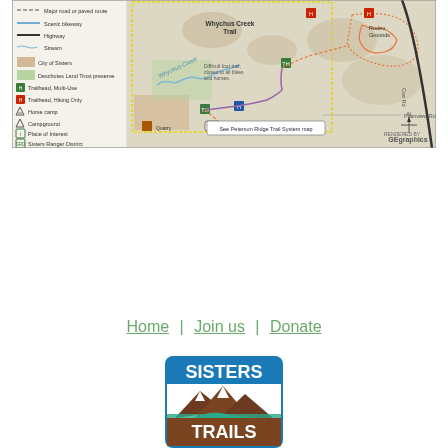[Figure (map): Trail map of Sisters area showing Whychus Creek Trail, trailheads, horse camp, campground, roads, scenic bikeway, and legend with icons for trail types, City of Sisters, Deschutes Land Trust preserve, Sisters Ranger District, and compass/graphics credit.]
Home | Join us | Donate
[Figure (logo): Sisters Trails logo - blue rounded rectangle with mountains, snow peaks, and river, text SISTERS TRAILS]